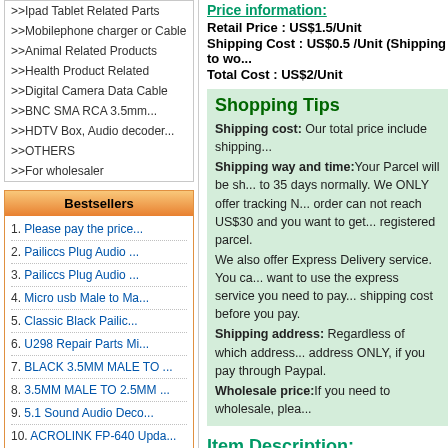>>Ipad Tablet Related Parts
>>Mobilephone charger or Cable
>>Animal Related Products
>>Health Product Related
>>Digital Camera Data Cable
>>BNC SMA RCA 3.5mm...
>>HDTV Box, Audio decoder...
>>OTHERS
>>For wholesaler
Bestsellers
1. Please pay the price...
2. Pailiccs Plug Audio ...
3. Pailiccs Plug Audio ...
4. Micro usb Male to Ma...
5. Classic Black Pailic...
6. U298 Repair Parts Mi...
7. BLACK 3.5MM MALE TO ...
8. 3.5MM MALE TO 2.5MM ...
9. 5.1 Sound Audio Deco...
10. ACROLINK FP-640 Upda...
Live Support
Price information:
Retail Price : US$1.5/Unit
Shipping Cost : US$0.5 /Unit (Shipping to wo...
Total Cost : US$2/Unit
Shopping Tips
Shipping cost: Our total price include shipping...
Shipping way and time: Your Parcel will be sh... to 35 days normally. We ONLY offer tracking N... order can not reach US$30 and you want to get... registered parcel.
We also offer Express Delivery service. You ca... want to use the express service you need to pay... shipping cost before you pay.
Shipping address: Regardless of which address... address ONLY, if you pay through Paypal.
Wholesale price: If you need to wholesale, plea...
Item Description:
Item Condition: Brand new without retail p...
[Figure (photo): Dark woven fabric or mesh texture, product image]